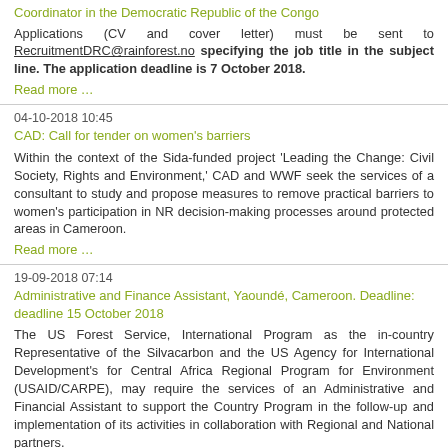Coordinator in the Democratic Republic of the Congo Applications (CV and cover letter) must be sent to RecruitmentDRC@rainforest.no specifying the job title in the subject line. The application deadline is 7 October 2018.
Read more …
04-10-2018 10:45
CAD: Call for tender on women's barriers
Within the context of the Sida-funded project 'Leading the Change: Civil Society, Rights and Environment,' CAD and WWF seek the services of a consultant to study and propose measures to remove practical barriers to women's participation in NR decision-making processes around protected areas in Cameroon.
Read more …
19-09-2018 07:14
Administrative and Finance Assistant, Yaoundé, Cameroon. Deadline: deadline 15 October 2018
The US Forest Service, International Program as the in-country Representative of the Silvacarbon and the US Agency for International Development's for Central Africa Regional Program for Environment (USAID/CARPE), may require the services of an Administrative and Financial Assistant to support the Country Program in the follow-up and implementation of its activities in collaboration with Regional and National partners.
Read more …
13-09-2018 12:11
TRAFFIC: Central Africa Wildlife Trade Officer – Fauna. Deadline for applications: 30th September 2018
TRAFFIC has an opportunity for a new role to join our team in Central Africa.